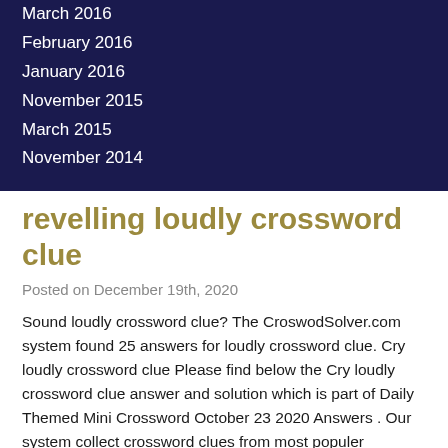March 2016
February 2016
January 2016
November 2015
March 2015
November 2014
revelling loudly crossword clue
Posted on December 19th, 2020
Sound loudly crossword clue? The CroswodSolver.com system found 25 answers for loudly crossword clue. Cry loudly crossword clue Please find below the Cry loudly crossword clue answer and solution which is part of Daily Themed Mini Crossword October 23 2020 Answers . Our system collect crossword clues from most populer crossword, cryptic puzzle, quick/small crossword that found in Daily Mail, Daily Telegraph, Daily Express, Daily Mirror, Herald-Sun, The Courier-Mail, Dominion Post and many others popular newspaper. Very loudly, in music. This crossword clue was last seen on 11 December 2020! Thanks for visiting The Crossword Solver. Are you looking for more answers, or do you have a question for other crossword enthusiasts? If your word has any